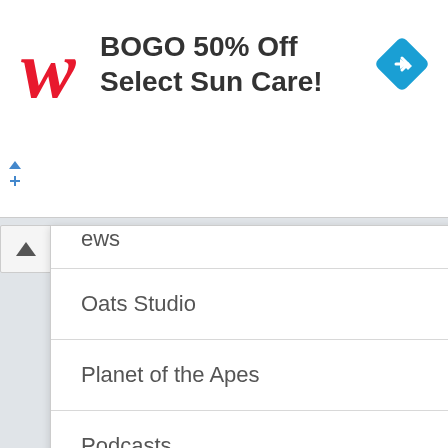[Figure (logo): Walgreens logo with red cursive W and advertisement text: BOGO 50% Off Select Sun Care!]
News
Oats Studio
Planet of the Apes
Podcasts
Reviews
Reviews
Roleplaying Games